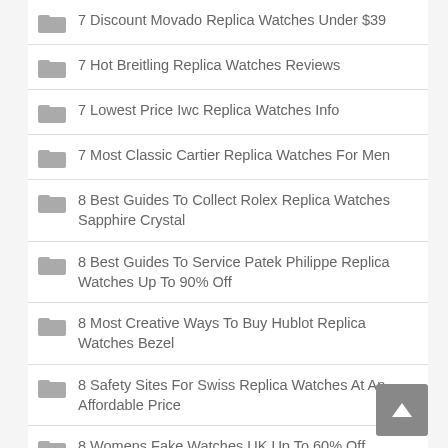7 Discount Movado Replica Watches Under $39
7 Hot Breitling Replica Watches Reviews
7 Lowest Price Iwc Replica Watches Info
7 Most Classic Cartier Replica Watches For Men
8 Best Guides To Collect Rolex Replica Watches Sapphire Crystal
8 Best Guides To Service Patek Philippe Replica Watches Up To 90% Off
8 Most Creative Ways To Buy Hublot Replica Watches Bezel
8 Safety Sites For Swiss Replica Watches At An Affordable Price
8 Womens Fake Watches UK Up To 60% Off
9 Online Shops For Noob Factory Replica Watches